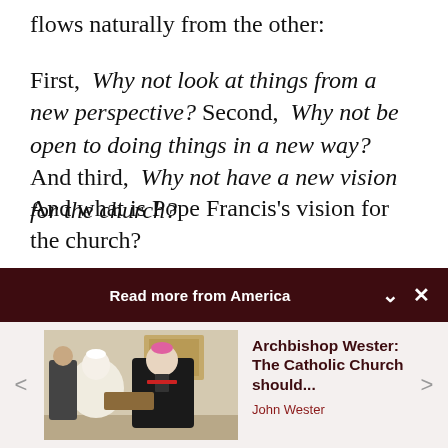flows naturally from the other:
First, Why not look at things from a new perspective? Second, Why not be open to doing things in a new way? And third, Why not have a new vision for the church?
And what is Pope Francis’s vision for the church?
Read more from America
[Figure (photo): Photo of Pope Francis and Archbishop Wester meeting, with Archbishop wearing pink zucchetto and black cassock, shaking hands or exchanging an item.]
Archbishop Wester: The Catholic Church should...
John Wester